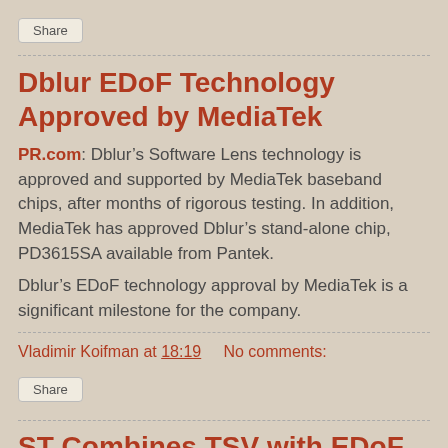Share
Dblur EDoF Technology Approved by MediaTek
PR.com: Dblur’s Software Lens technology is approved and supported by MediaTek baseband chips, after months of rigorous testing. In addition, MediaTek has approved Dblur’s stand-alone chip, PD3615SA available from Pantek.
Dblur’s EDoF technology approval by MediaTek is a significant milestone for the company.
Vladimir Koifman at 18:19   No comments:
Share
ST Combines TSV with EDoF